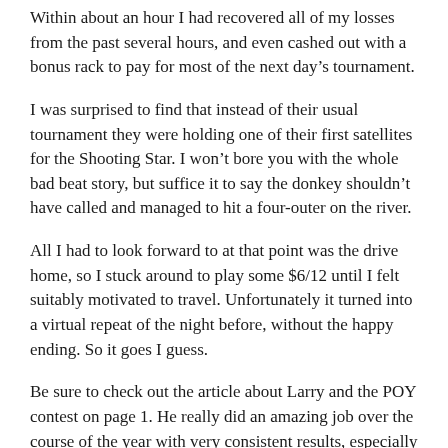Within about an hour I had recovered all of my losses from the past several hours, and even cashed out with a bonus rack to pay for most of the next day's tournament.
I was surprised to find that instead of their usual tournament they were holding one of their first satellites for the Shooting Star. I won't bore you with the whole bad beat story, but suffice it to say the donkey shouldn't have called and managed to hit a four-outer on the river.
All I had to look forward to at that point was the drive home, so I stuck around to play some $6/12 until I felt suitably motivated to travel. Unfortunately it turned into a virtual repeat of the night before, without the happy ending. So it goes I guess.
Be sure to check out the article about Larry and the POY contest on page 1. He really did an amazing job over the course of the year with very consistent results, especially for someone who's been playing tournaments for less than two years.
While you're at it, be sure to get signed up for the 2015 contest (if you're not already). Next December I could be coming to hang out with you and putting your picture on the front of The Cardroom!